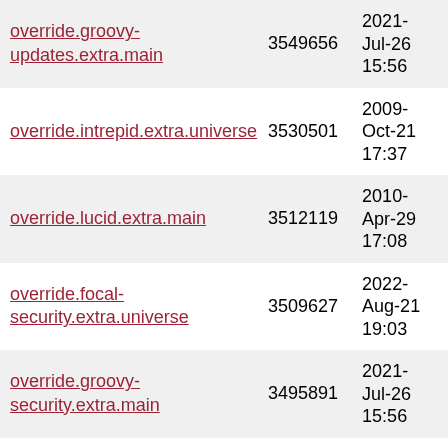| Name | Size | Date |
| --- | --- | --- |
| override.groovy-updates.extra.main | 3549656 | 2021-Jul-26 15:56 |
| override.intrepid.extra.universe | 3530501 | 2009-Oct-21 17:37 |
| override.lucid.extra.main | 3512119 | 2010-Apr-29 17:08 |
| override.focal-security.extra.universe | 3509627 | 2022-Aug-21 19:03 |
| override.groovy-security.extra.main | 3495891 | 2021-Jul-26 15:56 |
| override.focal-proposed.extra.main | 3486983 | 2022-Aug-21 19:03 |
| override.groovy.extra.multiverse | 3466611 | 2020-Oct-22 14:18 |
| override.groovy-updates.extra.restricted | 3440687 | 2021-Jul-26 15:56 |